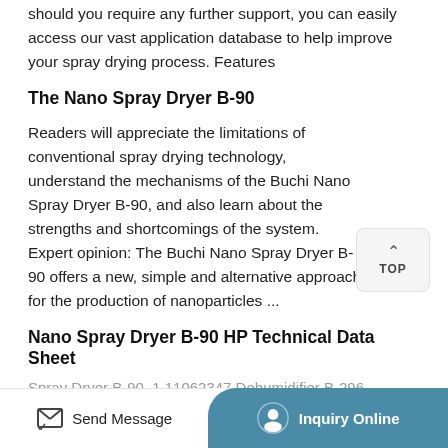should you require any further support, you can easily access our vast application database to help improve your spray drying process. Features
The Nano Spray Dryer B-90
Readers will appreciate the limitations of conventional spray drying technology, understand the mechanisms of the Buchi Nano Spray Dryer B-90, and also learn about the strengths and shortcomings of the system. Expert opinion: The Buchi Nano Spray Dryer B-90 offers a new, simple and alternative approach for the production of nanoparticles ...
Nano Spray Dryer B-90 HP Technical Data Sheet
Spray Dryer B-90, 1 11062347 Dehumidifier B-296
Send Message
Inquiry Online